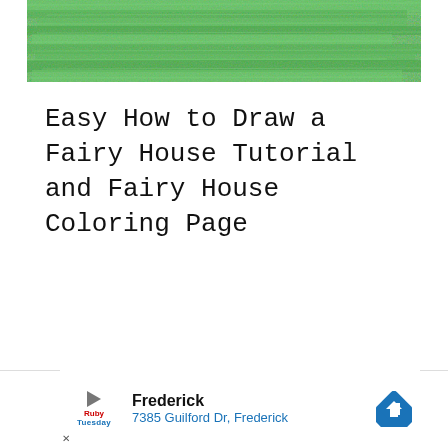[Figure (illustration): A green textured crayon-colored banner image at the top of the page]
Easy How to Draw a Fairy House Tutorial and Fairy House Coloring Page
[Figure (infographic): Advertisement bar at the bottom showing Ruby Tuesday restaurant with address 7385 Guilford Dr, Frederick and a blue navigation arrow icon]